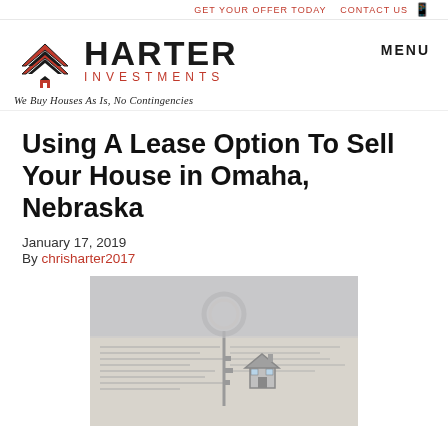GET YOUR OFFER TODAY   CONTACT US
[Figure (logo): Harter Investments logo with red chevron icon, bold HARTER text, red INVESTMENTS subtitle, tagline We Buy Houses As Is, No Contingencies]
MENU
Using A Lease Option To Sell Your House in Omaha, Nebraska
January 17, 2019
By chrisharter2017
[Figure (photo): Photo of house-shaped keys on a keyring resting on printed lease agreement documents]